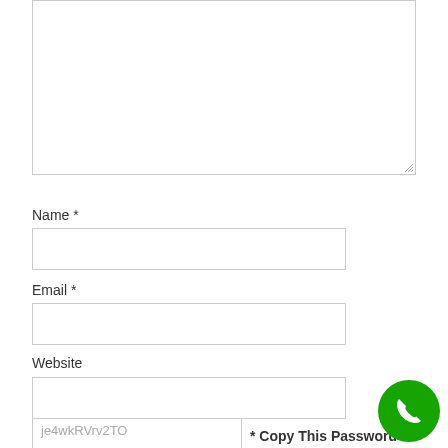[Figure (screenshot): Textarea (comment box) with resize handle at bottom-right, mostly empty]
Name *
[Figure (screenshot): Name input field, empty]
Email *
[Figure (screenshot): Email input field, empty]
Website
[Figure (screenshot): Website input field, empty]
je4wkRVrv2TO
* Copy This Password
[Figure (other): Green circular phone/call button in bottom-right corner]